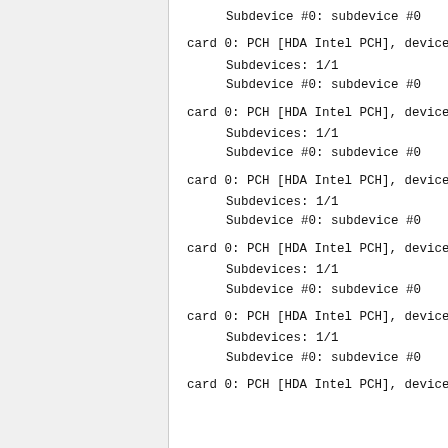Subdevice #0: subdevice #0
card 0: PCH [HDA Intel PCH], device 3: HDMI 0 [HDMI 0]
Subdevices: 1/1
Subdevice #0: subdevice #0
card 0: PCH [HDA Intel PCH], device 7: HDMI 1 [HDMI 1]
Subdevices: 1/1
Subdevice #0: subdevice #0
card 0: PCH [HDA Intel PCH], device 8: HDMI 2 [HDMI 2]
Subdevices: 1/1
Subdevice #0: subdevice #0
card 0: PCH [HDA Intel PCH], device 9: HDMI 3 [HDMI 3]
Subdevices: 1/1
Subdevice #0: subdevice #0
card 0: PCH [HDA Intel PCH], device 10: HDMI 4 [HDMI 4]
Subdevices: 1/1
Subdevice #0: subdevice #0
card 0: PCH [HDA Intel PCH], device ??: HDMI 5 [HDM